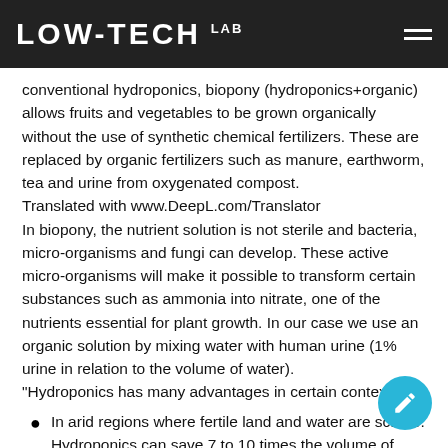LOW-TECH LAB
conventional hydroponics, biopony (hydroponics+organic) allows fruits and vegetables to be grown organically without the use of synthetic chemical fertilizers. These are replaced by organic fertilizers such as manure, earthworm, tea and urine from oxygenated compost.
Translated with www.DeepL.com/Translator
In biopony, the nutrient solution is not sterile and bacteria, micro-organisms and fungi can develop. These active micro-organisms will make it possible to transform certain substances such as ammonia into nitrate, one of the nutrients essential for plant growth. In our case we use an organic solution by mixing water with human urine (1% urine in relation to the volume of water).
"Hydroponics has many advantages in certain contexts:
In arid regions where fertile land and water are scarce. Hydroponics can save 7 to 10 times the volume of water needed for irrigation compared to conventional agriculture. It also helps to avoid water stress.
In cities and urban areas where there is little space available for earth cultivation. It is particularly suitable for